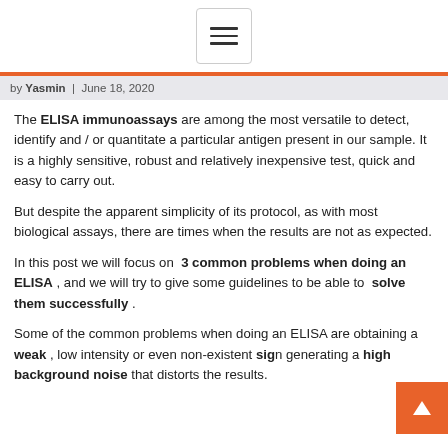[Figure (other): Hamburger menu icon button with three horizontal lines inside a rounded rectangle border]
by Yasmin | June 18, 2020
The ELISA immunoassays are among the most versatile to detect, identify and / or quantitate a particular antigen present in our sample. It is a highly sensitive, robust and relatively inexpensive test, quick and easy to carry out.
But despite the apparent simplicity of its protocol, as with most biological assays, there are times when the results are not as expected.
In this post we will focus on 3 common problems when doing an ELISA , and we will try to give some guidelines to be able to solve them successfully .
Some of the common problems when doing an ELISA are obtaining a weak , low intensity or even non-existent sign generating a high background noise that distorts the results.